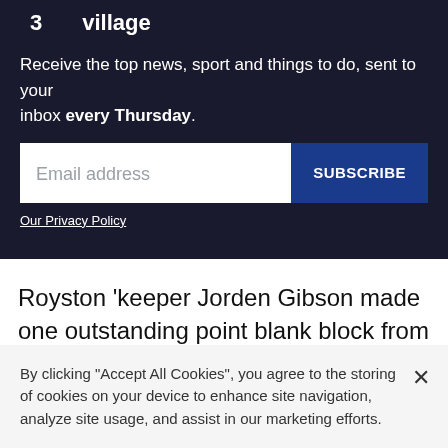3   village
Receive the top news, sport and things to do, sent to your inbox every Thursday.
Email address  SUBSCRIBE
Our Privacy Policy
Royston 'keeper Jorden Gibson made one outstanding point blank block from a close range volleyed effort and two other presentable chances were put wide of
By clicking “Accept All Cookies”, you agree to the storing of cookies on your device to enhance site navigation, analyze site usage, and assist in our marketing efforts.